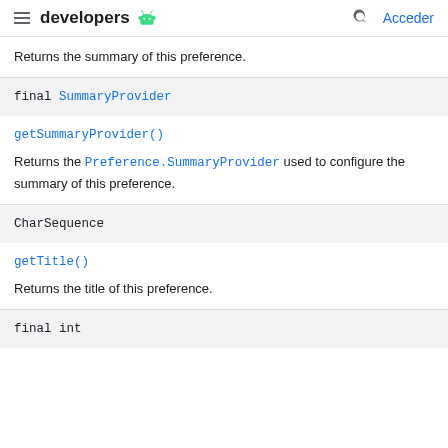developers
Returns the summary of this preference.
final SummaryProvider
getSummaryProvider()
Returns the Preference.SummaryProvider used to configure the summary of this preference.
CharSequence
getTitle()
Returns the title of this preference.
final int